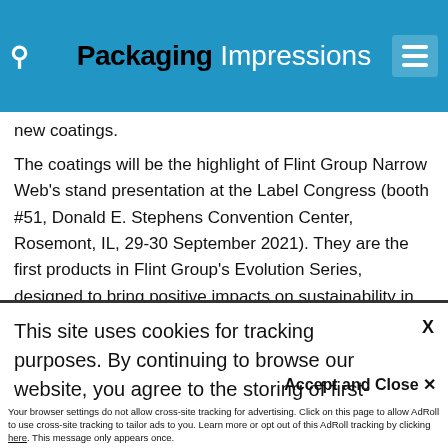Packaging Impressions
new coatings.
The coatings will be the highlight of Flint Group Narrow Web's stand presentation at the Label Congress (booth #51, Donald E. Stephens Convention Center, Rosemont, IL, 29-30 September 2021). They are the first products in Flint Group's Evolution Series, designed to bring positive impacts on sustainability in the label and
This site uses cookies for tracking purposes. By continuing to browse our website, you agree to the storing of first- and third-party cookies on your device to enhance site navigation, analyze site
usage, and assist in our marketing and
Accept and Close ✕
Your browser settings do not allow cross-site tracking for advertising. Click on this page to allow AdRoll to use cross-site tracking to tailor ads to you. Learn more or opt out of this AdRoll tracking by clicking here. This message only appears once.